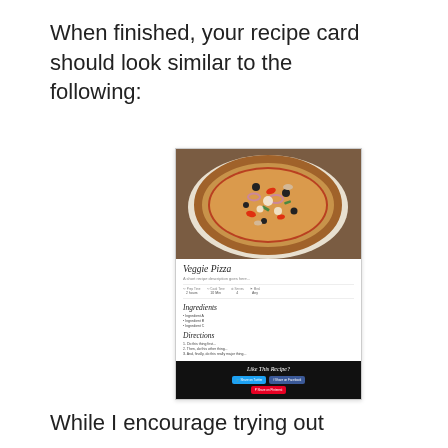When finished, your recipe card should look similar to the following:
[Figure (screenshot): Screenshot of a recipe card for Veggie Pizza showing a pizza photo, recipe title, description, prep/cook time metadata, ingredients list, directions, and social sharing footer buttons for Twitter, Facebook, and Pinterest.]
While I encourage trying out